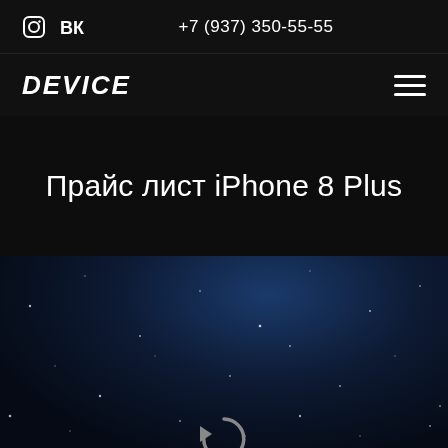+7 (937) 350-55-55
DEVICE
Прайс лист iPhone 8 Plus
[Figure (illustration): Dark starfield/nebula background with scattered white light dots and a reload/refresh icon at the bottom center]